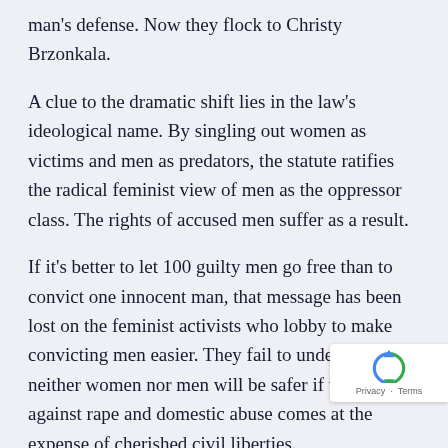man's defense. Now they flock to Christy Brzonkala.
A clue to the dramatic shift lies in the law's ideological name. By singling out women as victims and men as predators, the statute ratifies the radical feminist view of men as the oppressor class. The rights of accused men suffer as a result.
If it's better to let 100 guilty men go free than to convict one innocent man, that message has been lost on the feminist activists who lobby to make convicting men easier. They fail to understand that neither women nor men will be safer if the fight against rape and domestic abuse comes at the expense of cherished civil liberties.
Defendants facing sexual assault charges have been heart of historic Supreme Court cases establishing the